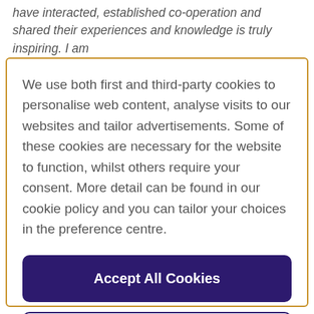have interacted, established co-operation and shared their experiences and knowledge is truly inspiring. I am
We use both first and third-party cookies to personalise web content, analyse visits to our websites and tailor advertisements. Some of these cookies are necessary for the website to function, whilst others require your consent. More detail can be found in our cookie policy and you can tailor your choices in the preference centre.
Accept All Cookies
Cookies Settings